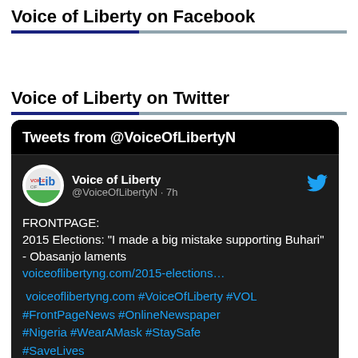Voice of Liberty on Facebook
Voice of Liberty on Twitter
[Figure (screenshot): Twitter widget showing tweets from @VoiceOfLibertyN. A tweet by Voice of Liberty (@VoiceOfLibertyN · 7h) reads: FRONTPAGE: 2015 Elections: "I made a big mistake supporting Buhari" - Obasanjo laments voiceoflibertyng.com/2015-elections… voiceoflibertyng.com #VoiceOfLiberty #VOL #FrontPageNews #OnlineNewspaper #Nigeria #WearAMask #StaySafe #SaveLives]